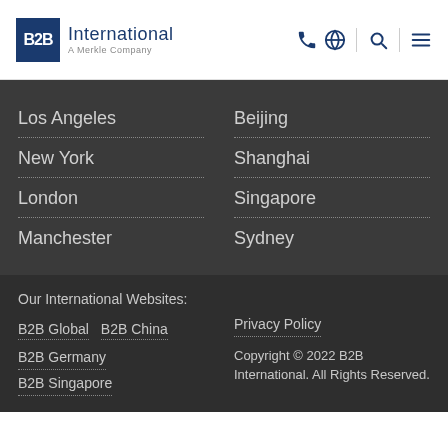[Figure (logo): B2B International - A Merkle Company logo with blue square and navigation icons]
Los Angeles
Beijing
New York
Shanghai
London
Singapore
Manchester
Sydney
Our International Websites:
B2B Global  B2B China
B2B Germany
B2B Singapore
Privacy Policy
Copyright © 2022 B2B International. All Rights Reserved.